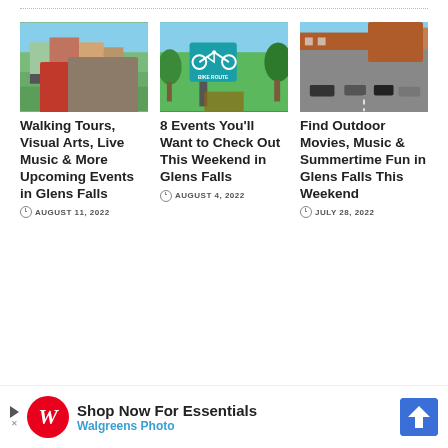[Figure (photo): Photo of a park with green lawn, parked cars, and historic buildings under blue sky]
Walking Tours, Visual Arts, Live Music & More Upcoming Events in Glens Falls
AUGUST 11, 2022
[Figure (photo): Photo of a bike route sign on a forest trail path]
8 Events You'll Want to Check Out This Weekend in Glens Falls
AUGUST 4, 2022
[Figure (photo): Aerial photo of a street intersection with cars and brick buildings]
Find Outdoor Movies, Music & Summertime Fun in Glens Falls This Weekend
JULY 28, 2022
Search Now
[Figure (infographic): Walgreens advertisement banner: Shop Now For Essentials - Walgreens Photo]